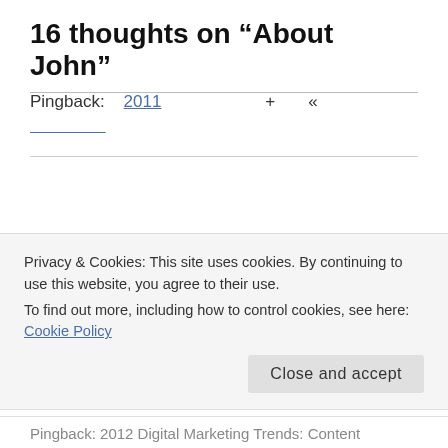16 thoughts on “About John”
Pingback: 2011 + «
Pingback: 2011 + | Appenheimer
Privacy & Cookies: This site uses cookies. By continuing to use this website, you agree to their use. To find out more, including how to control cookies, see here: Cookie Policy
Close and accept
Pingback: 2012 Digital Marketing Trends: Content